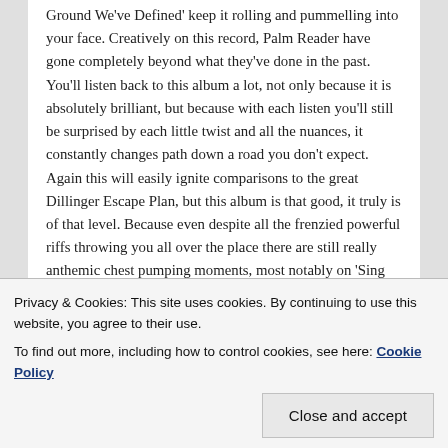Ground We've Defined' keep it rolling and pummelling into your face. Creatively on this record, Palm Reader have gone completely beyond what they've done in the past. You'll listen back to this album a lot, not only because it is absolutely brilliant, but because with each listen you'll still be surprised by each little twist and all the nuances, it constantly changes path down a road you don't expect. Again this will easily ignite comparisons to the great Dillinger Escape Plan, but this album is that good, it truly is of that level. Because even despite all the frenzied powerful riffs throwing you all over the place there are still really anthemic chest pumping moments, most notably on 'Sing Out, Survivor'.
Privacy & Cookies: This site uses cookies. By continuing to use this website, you agree to their use.
To find out more, including how to control cookies, see here: Cookie Policy
will rise with the release of Beside The Ones We...